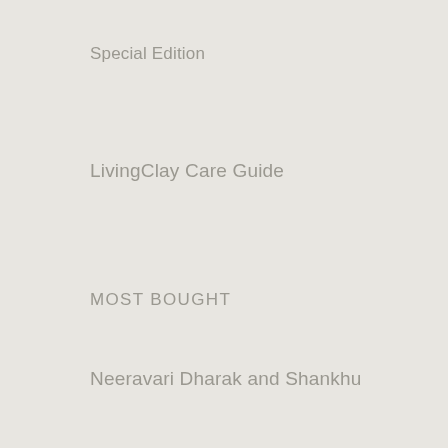Special Edition
LivingClay Care Guide
MOST BOUGHT
Neeravari Dharak and Shankhu
Pebble Bowls
Wheaten Breakfast Bowls
Wheaten citrus juicer